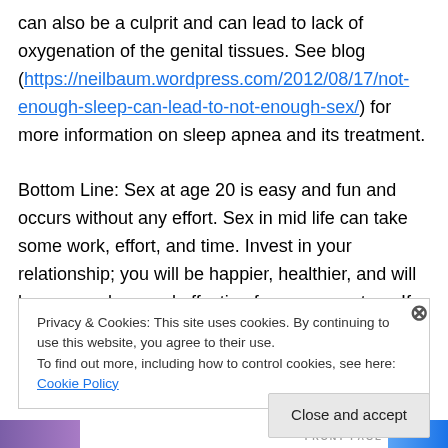can also be a culprit and can lead to lack of oxygenation of the genital tissues. See blog (https://neilbaum.wordpress.com/2012/08/17/not-enough-sleep-can-lead-to-not-enough-sex/) for more information on sleep apnea and its treatment.
Bottom Line: Sex at age 20 is easy and fun and occurs without any effort. Sex in mid life can take some work, effort, and time. Invest in your relationship; you will be happier, healthier, and will have more love and affection from your partner. If that isn't reason enough to get your
Privacy & Cookies: This site uses cookies. By continuing to use this website, you agree to their use.
To find out more, including how to control cookies, see here: Cookie Policy